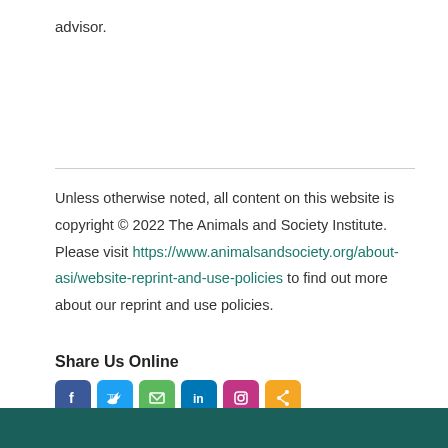advisor.
Unless otherwise noted, all content on this website is copyright © 2022 The Animals and Society Institute. Please visit https://www.animalsandsociety.org/about-asi/website-reprint-and-use-policies to find out more about our reprint and use policies.
Share Us Online
[Figure (infographic): Social media share icons: Facebook (blue), Twitter (light blue), Email (green), LinkedIn (dark blue), Instagram (purple/pink), Share (orange)]